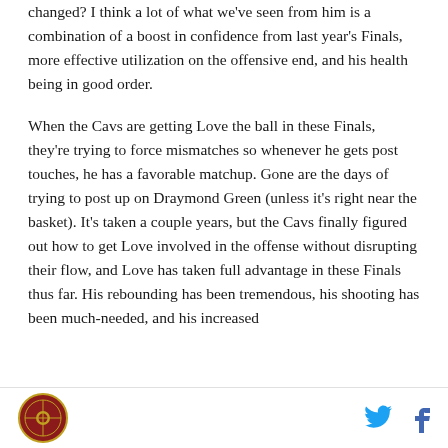changed? I think a lot of what we've seen from him is a combination of a boost in confidence from last year's Finals, more effective utilization on the offensive end, and his health being in good order.
When the Cavs are getting Love the ball in these Finals, they're trying to force mismatches so whenever he gets post touches, he has a favorable matchup. Gone are the days of trying to post up on Draymond Green (unless it's right near the basket). It's taken a couple years, but the Cavs finally figured out how to get Love involved in the offense without disrupting their flow, and Love has taken full advantage in these Finals thus far. His rebounding has been tremendous, his shooting has been much-needed, and his increased
[logo] [twitter] [facebook]